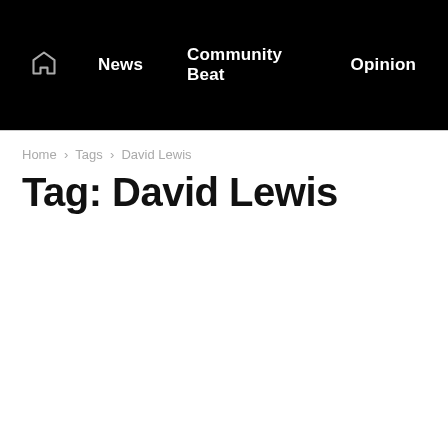News  Community Beat  Opinion
Home › Tags › David Lewis
Tag: David Lewis